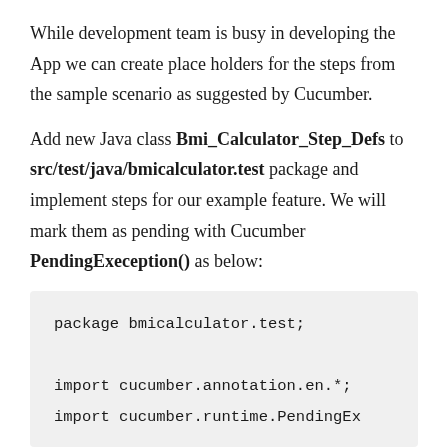While development team is busy in developing the App we can create place holders for the steps from the sample scenario as suggested by Cucumber.
Add new Java class Bmi_Calculator_Step_Defs to src/test/java/bmicalculator.test package and implement steps for our example feature. We will mark them as pending with Cucumber PendingExeception() as below:
[Figure (screenshot): Code block showing Java package declaration and import statements: 'package bmicalculator.test;' followed by 'import cucumber.annotation.en.*;' and 'import cucumber.runtime.PendingEx']